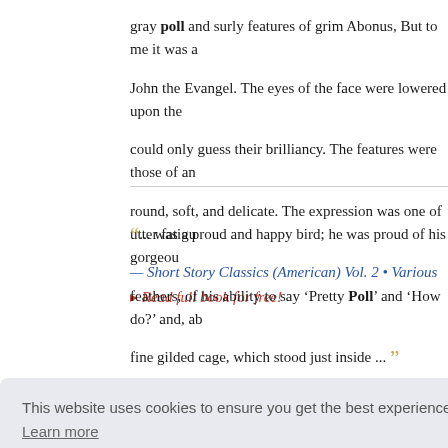gray poll and surly features of grim Abonus, But to me it was a John the Evangel. The eyes of the face were lowered upon the could only guess their brilliancy. The features were those of an round, soft, and delicate. The expression was one of utter fatig
— Short Story Classics (American) Vol. 2 • Various
▸ Read full book for free!
"... was a proud and happy bird; he was proud of his gorgeous feathers, of his ability to say 'Pretty Poll' and 'How do?' and, ab fine gilded cage, which stood just inside ..."
— Chatterbox, 1905. • Various
▸ Read full book for free!
This website uses cookies to ensure you get the best experience on our website. Learn more
Got it!
urling time ng classes.
of the hit...